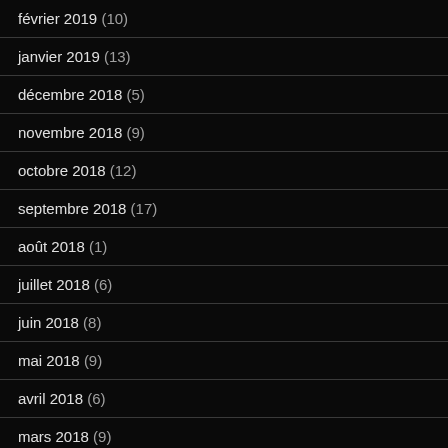février 2019 (10)
janvier 2019 (13)
décembre 2018 (5)
novembre 2018 (9)
octobre 2018 (12)
septembre 2018 (17)
août 2018 (1)
juillet 2018 (6)
juin 2018 (8)
mai 2018 (9)
avril 2018 (6)
mars 2018 (9)